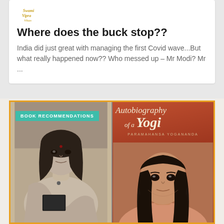[Figure (logo): Small decorative logo with golden/yellow stylized text]
Where does the buck stop??
India did just great with managing the first Covid wave...But what really happened now?? Who messed up – Mr Modi? Mr ...
[Figure (photo): Two-panel image: left panel shows a black-and-white photograph of a woman with dark hair; right panel shows the cover of 'Autobiography of a Yogi' by Paramahansa Yogananda with a portrait of the author on an orange-red background. A teal label reading 'BOOK RECOMMENDATIONS' overlays the top-left of the image.]